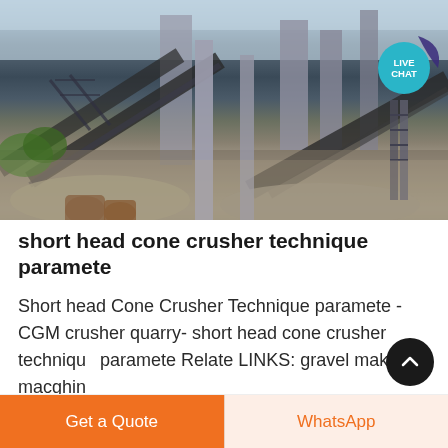[Figure (photo): Industrial quarry or mining facility with conveyor belts, concrete structures, towers, machinery, and piles of gravel/aggregate material. A 'LIVE CHAT' teal badge overlay is visible in the upper right corner of the image.]
short head cone crusher technique paramete
Short head Cone Crusher Technique paramete - CGM crusher quarry- short head cone crusher technique paramete Relate LINKS: gravel making macghine
Get a Quote
WhatsApp